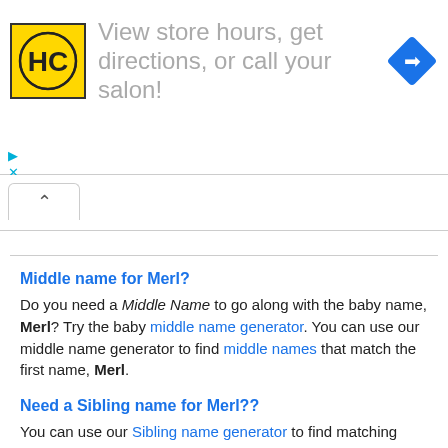[Figure (infographic): Advertisement banner: HC (Hair Club) logo in yellow square, text 'View store hours, get directions, or call your salon!' in gray, blue diamond directions icon on right. Small play and close icons bottom-left.]
Middle name for Merl?
Do you need a Middle Name to go along with the baby name, Merl? Try the baby middle name generator. You can use our middle name generator to find middle names that match the first name, Merl.
Need a Sibling name for Merl??
You can use our Sibling name generator to find matching brother and sister names for the name Merl. Here is a list of Sibling names that go with Merl